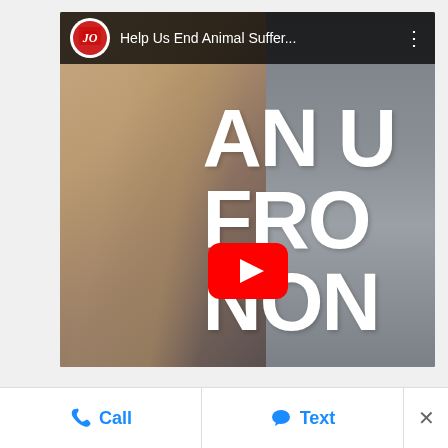[Figure (screenshot): YouTube video thumbnail/embed showing a woman with long blonde hair on the left side, large white bold text reading 'AN U', 'FRO', 'NON' on the right (partial text cut off), with a YouTube play button centered at the bottom of the video. Top bar shows channel logo and title 'Help Us End Animal Suffer...' with three-dot menu.]
Call
Text